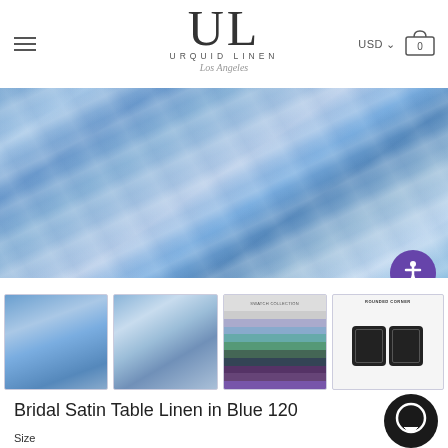[Figure (logo): Urquid Linen Los Angeles logo with large UL lettermark]
[Figure (photo): Blue bridal satin fabric close-up showing sheen and drape]
[Figure (photo): Four product thumbnail images: blue satin tablecloth, light blue satin close-up, color swatch chart, rounded corner diagram]
Bridal Satin Table Linen in Blue 120
Size